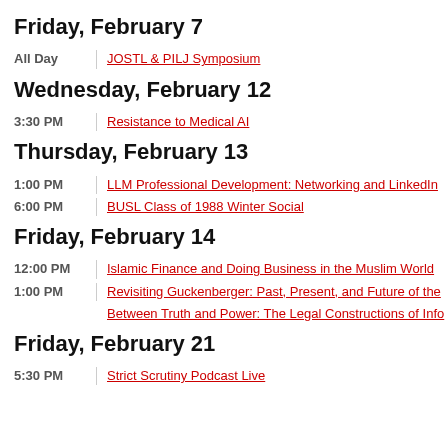Friday, February 7
All Day  |  JOSTL & PILJ Symposium
Wednesday, February 12
3:30 PM  |  Resistance to Medical AI
Thursday, February 13
1:00 PM  |  LLM Professional Development: Networking and LinkedIn
6:00 PM  |  BUSL Class of 1988 Winter Social
Friday, February 14
12:00 PM  |  Islamic Finance and Doing Business in the Muslim World
1:00 PM  |  Revisiting Guckenberger: Past, Present, and Future of the
Between Truth and Power: The Legal Constructions of Info
Friday, February 21
5:30 PM  |  Strict Scrutiny Podcast Live